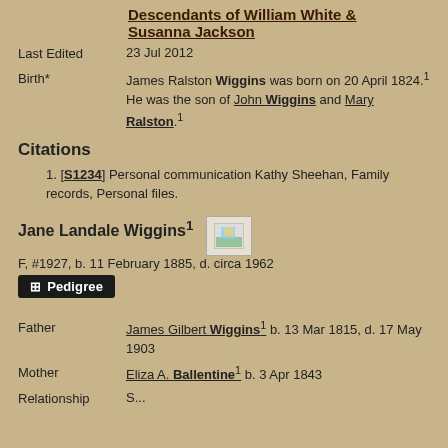Descendants of William White & Susanna Jackson
Last Edited   23 Jul 2012
Birth*   James Ralston Wiggins was born on 20 April 1824.1
He was the son of John Wiggins and Mary Ralston.1
Citations
1. [S1234] Personal communication Kathy Sheehan, Family records, Personal files.
Jane Landale Wiggins1
F, #1927, b. 11 February 1885, d. circa 1962
Father   James Gilbert Wiggins1 b. 13 Mar 1815, d. 17 May 1903
Mother   Eliza A. Ballentine1 b. 3 Apr 1843
Relationship   ...